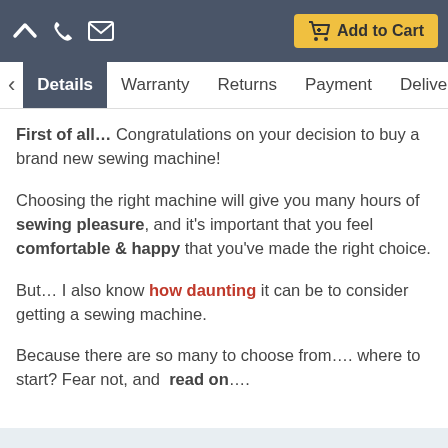Add to Cart
Details | Warranty | Returns | Payment | Delivery
First of all… Congratulations on your decision to buy a brand new sewing machine!
Choosing the right machine will give you many hours of sewing pleasure, and it's important that you feel comfortable & happy that you've made the right choice.
But… I also know how daunting it can be to consider getting a sewing machine.
Because there are so many to choose from…. where to start? Fear not, and read on….